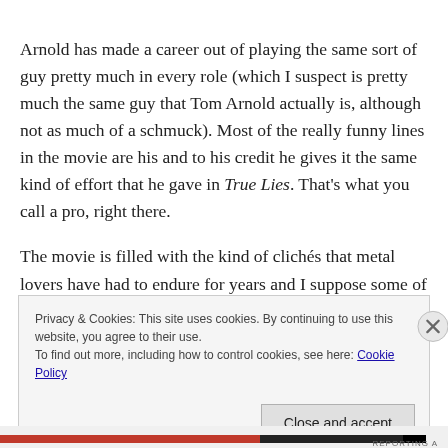Arnold has made a career out of playing the same sort of guy pretty much in every role (which I suspect is pretty much the same guy that Tom Arnold actually is, although not as much of a schmuck). Most of the really funny lines in the movie are his and to his credit he gives it the same kind of effort that he gave in True Lies. That's what you call a pro, right there.
The movie is filled with the kind of clichés that metal lovers have had to endure for years and I suppose some of them
Privacy & Cookies: This site uses cookies. By continuing to use this website, you agree to their use.
To find out more, including how to control cookies, see here: Cookie Policy
Close and accept